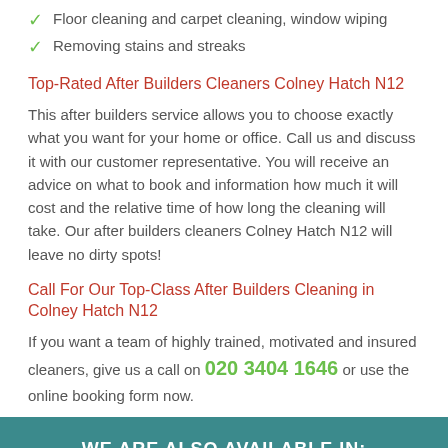Floor cleaning and carpet cleaning, window wiping
Removing stains and streaks
Top-Rated After Builders Cleaners Colney Hatch N12
This after builders service allows you to choose exactly what you want for your home or office. Call us and discuss it with our customer representative. You will receive an advice on what to book and information how much it will cost and the relative time of how long the cleaning will take. Our after builders cleaners Colney Hatch N12 will leave no dirty spots!
Call For Our Top-Class After Builders Cleaning in Colney Hatch N12
If you want a team of highly trained, motivated and insured cleaners, give us a call on 020 3404 1646 or use the online booking form now.
WE ARE ALSO AVAILABLE IN:
Woodside Park N12